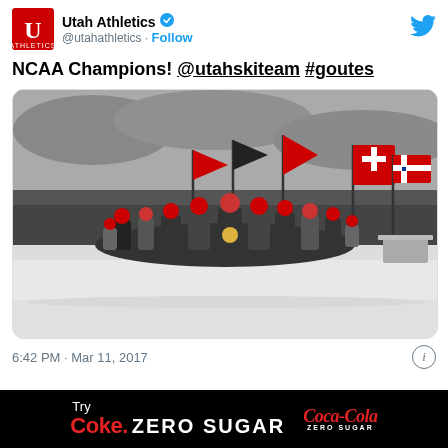Utah Athletics @utahathletics · Follow
NCAA Champions! @utahskiteam #goutes
[Figure (photo): Utah ski team group photo on snow, holding red and black flags, wearing red and black athletic gear, overcast sky background]
6:42 PM · Mar 11, 2017
Try Coke. ZERO SUGAR  Coca Cola ZERO SUGAR